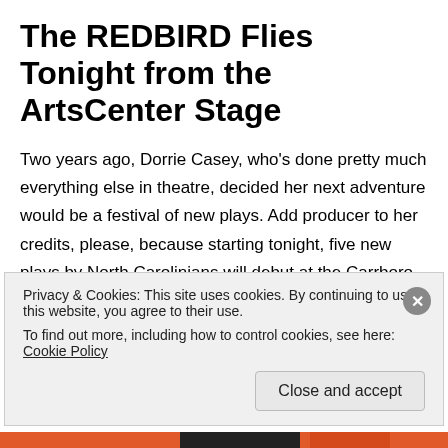The REDBIRD Flies Tonight from the ArtsCenter Stage
Two years ago, Dorrie Casey, who's done pretty much everything else in theatre, decided her next adventure would be a festival of new plays. Add producer to her credits, please, because starting tonight, five new plays by North Carolinians will debut at the Carrboro ArtsCenter. Heavily … Continue reading →
March 13, 2015
💬 Leave a Reply
Privacy & Cookies: This site uses cookies. By continuing to use this website, you agree to their use.
To find out more, including how to control cookies, see here: Cookie Policy
Close and accept